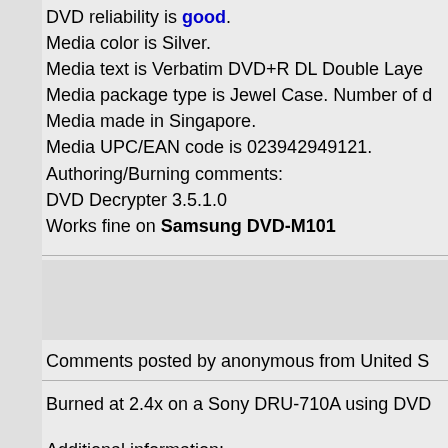DVD reliability is good. Media color is Silver. Media text is Verbatim DVD+R DL Double Layer Media package type is Jewel Case. Number of d Media made in Singapore. Media UPC/EAN code is 023942949121. Authoring/Burning comments: DVD Decrypter 3.5.1.0 Works fine on Samsung DVD-M101
Comments posted by anonymous from United S
Burned at 2.4x on a Sony DRU-710A using DVD
Additional information:
Price: $30 Purchased from: Bestbuy Date purcha 2004 Burnt with Sony DRU-710A at 2.4x using firmwa